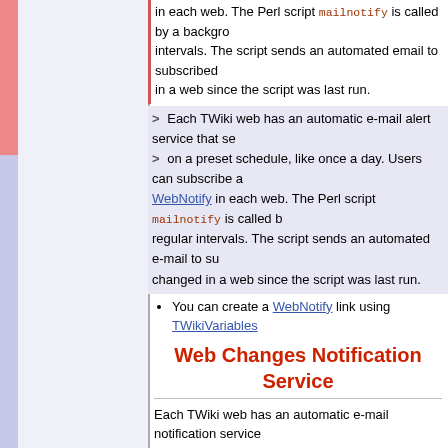in each web. The Perl script mailnotify is called by a background process at regular intervals. The script sends an automated email to subscribed users listing the topics changed in a web since the script was last run.
> Each TWiki web has an automatic e-mail alert service that sends out on a preset schedule, like once a day. Users can subscribe and unsubscribe in WebNotify in each web. The Perl script mailnotify is called by a background process at regular intervals. The script sends an automated e-mail to subscribed users listing what changed in a web since the script was last run.
You can create a WebNotify link using TWikiVariables
Web Changes Notification Service
Each TWiki web has an automatic e-mail notification service that sends links to all of the topics modified since the last alert.
Tip: Instead of subscribing here, it is easier to "watch" Watching topics gives you the choice of immediate notification.
Users subscribe to email notifications using their WikiName or email address, and can specify the webs/topics they wish to track, and can also be subscribed for notification.